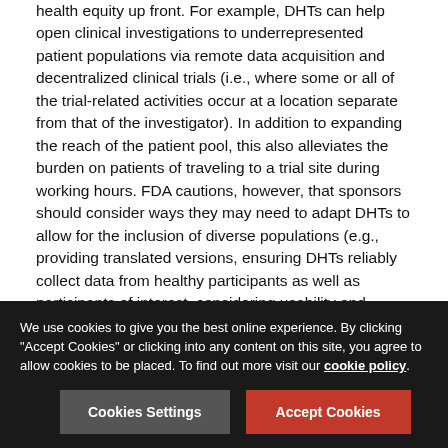health equity up front. For example, DHTs can help open clinical investigations to underrepresented patient populations via remote data acquisition and decentralized clinical trials (i.e., where some or all of the trial-related activities occur at a location separate from that of the investigator). In addition to expanding the reach of the patient pool, this also alleviates the burden on patients of traveling to a trial site during working hours. FDA cautions, however, that sponsors should consider ways they may need to adapt DHTs to allow for the inclusion of diverse populations (e.g., providing translated versions, ensuring DHTs reliably collect data from healthy participants as well as participants of interest, considering usability and access, etc.). Additionally, sponsors may need to consider ways to alleviate disparities in access to DHTs (e.g., cost considerations, use of personal DHTs versus trial-provided DHTs, etc.). For example, a 2021 bill introduced by Rep. Ruiz,
We use cookies to give you the best online experience. By clicking "Accept Cookies" or clicking into any content on this site, you agree to allow cookies to be placed. To find out more visit our cookie policy.